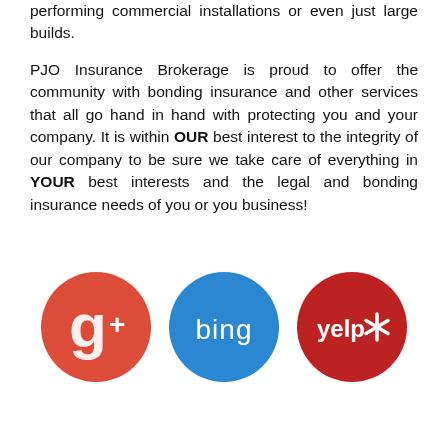performing commercial installations or even just large builds.

PJO Insurance Brokerage is proud to offer the community with bonding insurance and other services that all go hand in hand with protecting you and your company. It is within OUR best interest to the integrity of our company to be sure we take care of everything in YOUR best interests and the legal and bonding insurance needs of you or you business!
[Figure (logo): Three social/review platform logos: Google+ (red circle with G+ icon), Bing (blue circle with bing text), Yelp (dark red circle with yelp and asterisk icon)]